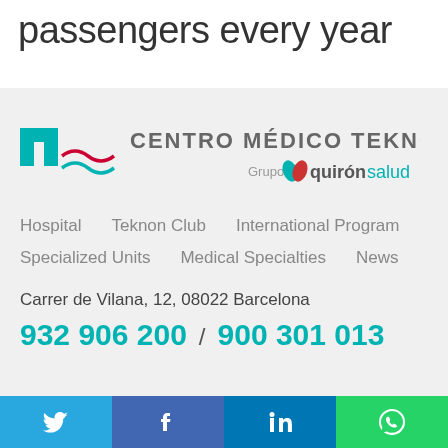passengers every year
[Figure (logo): Centro Médico Teknon logo with cross symbol and Grupo Quirónsalud branding]
Hospital
Teknon Club
International Program
Specialized Units
Medical Specialties
News
Carrer de Vilana, 12, 08022 Barcelona
932 906 200 / 900 301 013
[Figure (infographic): Social media bar with Twitter, Facebook, LinkedIn, and WhatsApp icons]